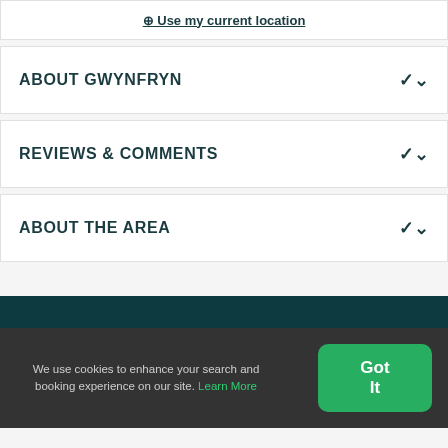⊕ Use my current location
ABOUT GWYNFRYN
REVIEWS & COMMENTS
ABOUT THE AREA
We use cookies to enhance your search and booking experience on our site. Learn More
Got It